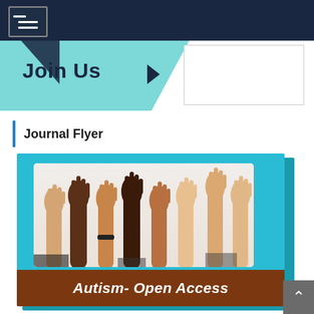[Figure (screenshot): Navigation bar with hamburger menu icon on dark navy background]
[Figure (illustration): Join Us banner with teal background, dark navy text 'Join Us', right-pointing arrow, and white box on right side]
Journal Flyer
[Figure (illustration): Journal cover for 'Autism- Open Access' journal. Teal background with white rounded rectangle containing photo of diverse raised hands. ISSN: 2165-7890 printed in white. Brown bar at bottom with white italic text 'Autism- Open Access'.]